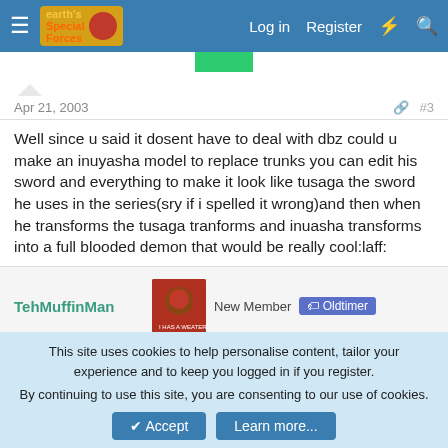Earth's Special Forces forum header with Log in, Register, and search icons
Apr 21, 2003  #3
Well since u said it dosent have to deal with dbz could u make an inuyasha model to replace trunks you can edit his sword and everything to make it look like tusaga the sword he uses in the series(sry if i spelled it wrong)and then when he transforms the tusaga tranforms and inuasha transforms into a full blooded demon that would be really cool:laff:
TehMuffinMan  New Member  Oldtimer
This site uses cookies to help personalise content, tailor your experience and to keep you logged in if you register.
By continuing to use this site, you are consenting to our use of cookies.